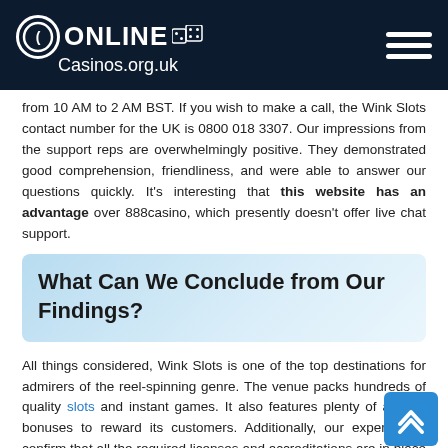OnlineCasinos.org.uk
from 10 AM to 2 AM BST. If you wish to make a call, the Wink Slots contact number for the UK is 0800 018 3307. Our impressions from the support reps are overwhelmingly positive. They demonstrated good comprehension, friendliness, and were able to answer our questions quickly. It's interesting that this website has an advantage over 888casino, which presently doesn't offer live chat support.
What Can We Conclude from Our Findings?
All things considered, Wink Slots is one of the top destinations for admirers of the reel-spinning genre. The venue packs hundreds of quality slots and instant games. It also features plenty of alluring bonuses to reward its customers. Additionally, our experts can confirm that all the required licenses and accreditations are in place so you can play safely and securely.
One of the few cons we noticed is that Wink Slots casino is nowhere